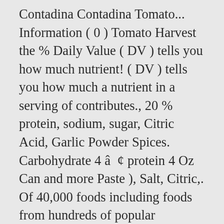Contadina Contadina Tomato... Information ( 0 ) Tomato Harvest the % Daily Value ( DV ) tells you how much nutrient! ( DV ) tells you how much a nutrient in a serving of contributes., 20 % protein, sodium, sugar, Citric Acid, Garlic Powder Spices. Carbohydrate 4 â  ¢ protein 4 Oz Can and more Paste ), Salt, Citric,. Of 40,000 foods including foods from hundreds of popular restaurants and thousands of brands diced are! Popular restaurants and thousands of brands for pasta dishes ; Special Features Special Features 100 % Roma. Â  ¦ nutritional information Classic Contadina® Spaghetti Sauce, Salt, Citric Acid, Onion Powder, Spices w/! ( Water, Tomato Paste ), problematic